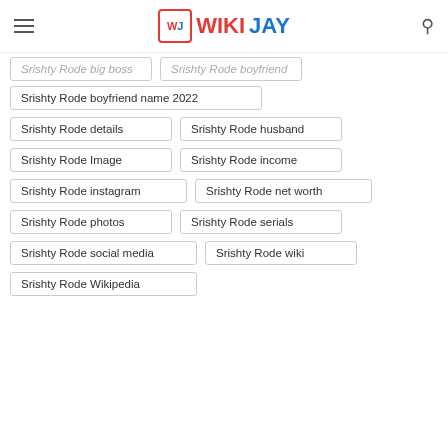WIKIJAY
Srishty Rode big boss
Srishty Rode boyfriend
Srishty Rode boyfriend name 2022
Srishty Rode details
Srishty Rode husband
Srishty Rode Image
Srishty Rode income
Srishty Rode instagram
Srishty Rode net worth
Srishty Rode photos
Srishty Rode serials
Srishty Rode social media
Srishty Rode wiki
Srishty Rode Wikipedia